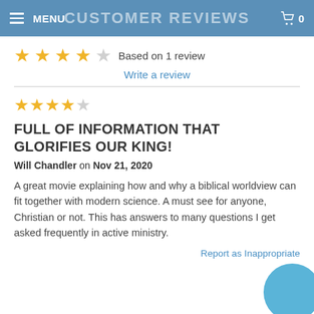MENU  CUSTOMER REVIEWS  0
[Figure (other): 4 out of 5 stars rating display]
Based on 1 review
Write a review
[Figure (other): 4 out of 5 stars rating for individual review]
FULL OF INFORMATION THAT GLORIFIES OUR KING!
Will Chandler on Nov 21, 2020
A great movie explaining how and why a biblical worldview can fit together with modern science. A must see for anyone, Christian or not. This has answers to many questions I get asked frequently in active ministry.
Report as Inappropriate